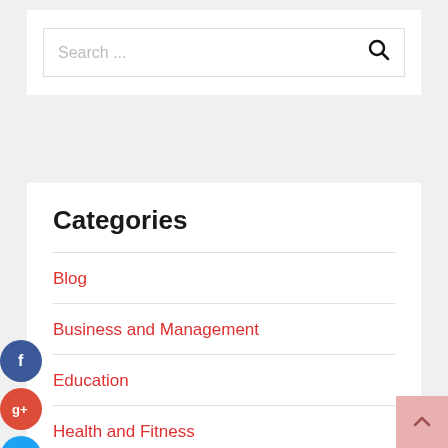Search ...
Categories
Blog
Business and Management
Education
Health and Fitness